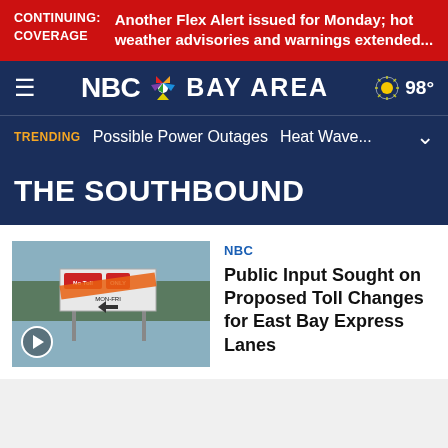CONTINUING: COVERAGE  Another Flex Alert issued for Monday; hot weather advisories and warnings extended...
[Figure (logo): NBC Bay Area logo with peacock icon and weather showing 98 degrees]
TRENDING  Possible Power Outages  Heat Wave...
THE SOUTHBOUND
[Figure (photo): Highway sign for express lanes with No Toll and Only markings, MON-FRI text visible]
NBC
Public Input Sought on Proposed Toll Changes for East Bay Express Lanes